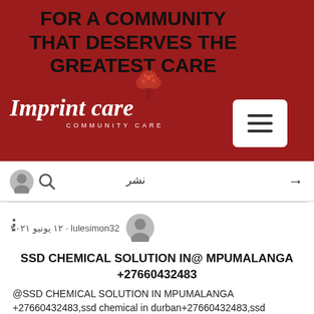FOR A COMMUNITY THAT DESERVES THE GREATEST CARE
[Figure (logo): Imprint Care Community Care logo with decorative tree icon, white text on dark red background, with hamburger menu button]
نشر →
lulesimon32 · ١٢ يونيو ٢٠٢١
SSD CHEMICAL SOLUTION IN@ MPUMALANGA +27660432483
@SSD CHEMICAL SOLUTION IN MPUMALANGA +27660432483,ssd chemical in durban+27660432483,ssd